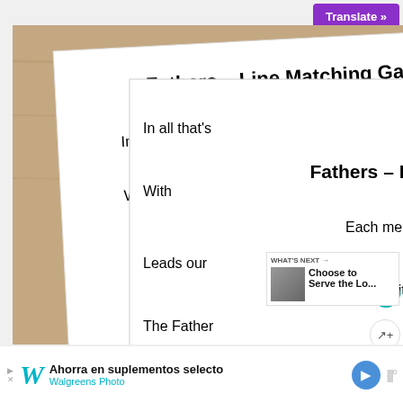[Figure (photo): A photo showing two printed worksheet pages titled 'Fathers – Line Matching Game VERSE 1' and 'Fathers – Line Matching Game VERSE 2', placed on a wooden surface with three Sharpie markers (red, maroon, dark navy). The worksheets show a line-matching activity with phrases on the left connected to phrases on the right by drawn lines.]
Translate »
WHAT'S NEXT → Choose to Serve the Lo...
Ahorra en suplementos selecto Walgreens Photo